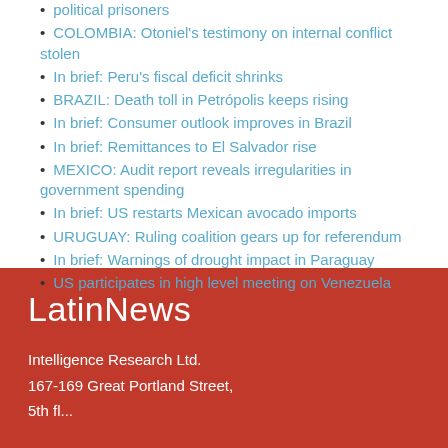political prisoners
COLOMBIA: Otoniel's testimony on internal conflict stolen
In brief: Peru's fiscal deficit shrinks
BRAZIL: Death toll in Petrópolis keeps rising
In brief: Consumer outlook improves in Brazil
In brief: Remittances to El Salvador rise
MEXICO: Audit report reveals irregularities in government spending
In brief: US restarts Mexican avocado imports
URUGUAY: Ruling coalition gears up for referendum
In brief: Warnings of drought impact in Paraguay
US participates in high level meeting on Venezuela
LatinNews
Intelligence Research Ltd.
167-169 Great Portland Street,
5th fl...